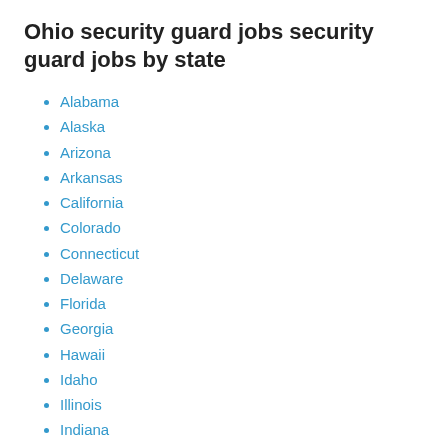Ohio security guard jobs security guard jobs by state
Alabama
Alaska
Arizona
Arkansas
California
Colorado
Connecticut
Delaware
Florida
Georgia
Hawaii
Idaho
Illinois
Indiana
Iowa
Kansas